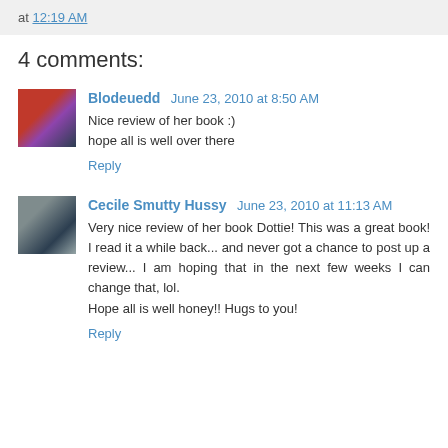at 12:19 AM
4 comments:
Blodeuedd June 23, 2010 at 8:50 AM
Nice review of her book :)
hope all is well over there
Reply
Cecile Smutty Hussy June 23, 2010 at 11:13 AM
Very nice review of her book Dottie! This was a great book! I read it a while back... and never got a chance to post up a review... I am hoping that in the next few weeks I can change that, lol.
Hope all is well honey!! Hugs to you!
Reply